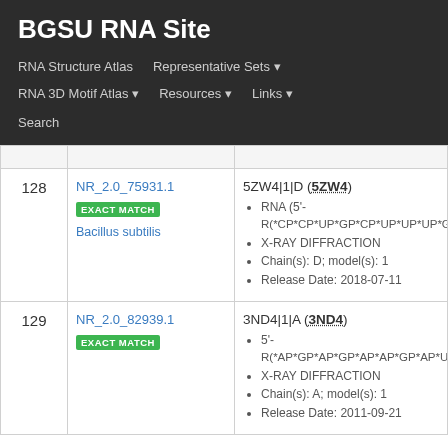BGSU RNA Site
RNA Structure Atlas | Representative Sets ▾ | RNA 3D Motif Atlas ▾ | Resources ▾ | Links ▾ | Search
| # | ID | Detail |
| --- | --- | --- |
| 128 | NR_2.0_75931.1 EXACT MATCH Bacillus subtilis | 5ZW4|1|D (5ZW4) • RNA (5'-R(*CP*CP*UP*GP*CP*UP*UP*UP*GP*C • X-RAY DIFFRACTION • Chain(s): D; model(s): 1 • Release Date: 2018-07-11 |
| 129 | NR_2.0_82939.1 EXACT MATCH | 3ND4|1|A (3ND4) • 5'-R(*AP*GP*AP*GP*AP*AP*GP*AP*UP*C • X-RAY DIFFRACTION • Chain(s): A; model(s): 1 • Release Date: 2011-09-21 |